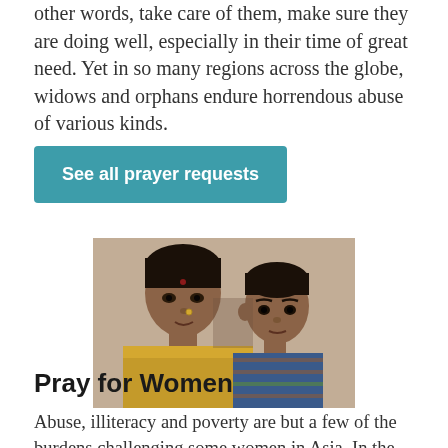other words, take care of them, make sure they are doing well, especially in their time of great need. Yet in so many regions across the globe, widows and orphans endure horrendous abuse of various kinds.
See all prayer requests
[Figure (photo): A woman in a sari and a young boy looking directly at the camera, appearing solemn. The woman has dark hair and is wearing traditional Indian clothing.]
Pray for Women
Abuse, illiteracy and poverty are but a few of the burdens challenging some women in Asia. In the face of such obstacles, GFA-supported workers help provide hope and